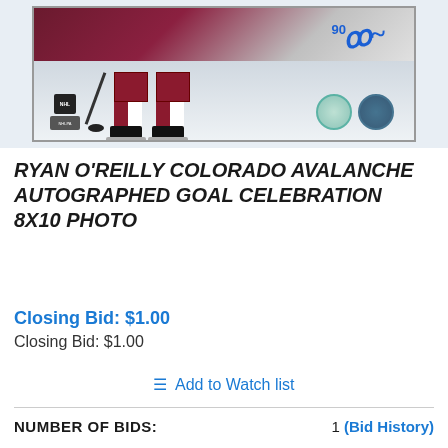[Figure (photo): Autographed 8x10 photo of Ryan O'Reilly in Colorado Avalanche jersey, showing hockey skates on ice, with blue autograph and number 90, NHL and NHLPA logos, and authentication seals]
RYAN O'REILLY COLORADO AVALANCHE AUTOGRAPHED GOAL CELEBRATION 8X10 PHOTO
Closing Bid: $1.00
Closing Bid: $1.00
Add to Watch list
NUMBER OF BIDS:
1 (Bid History)